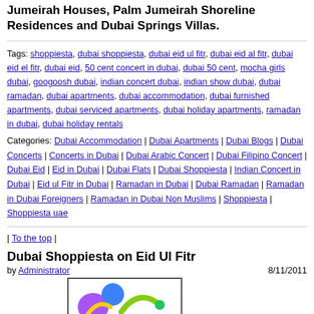Jumeirah Houses, Palm Jumeirah Shoreline Residences and Dubai Springs Villas.
Tags: shoppiesta, dubai shoppiesta, dubai eid ul fitr, dubai eid al fitr, dubai eid el fitr, dubai eid, 50 cent concert in dubai, dubai 50 cent, mocha girls dubai, googoosh dubai, indian concert dubai, indian show dubai, dubai ramadan, dubai apartments, dubai accommodation, dubai furnished apartments, dubai serviced apartments, dubai holiday apartments, ramadan in dubai, dubai holiday rentals
Categories: Dubai Accommodation | Dubai Apartments | Dubai Blogs | Dubai Concerts | Concerts in Dubai | Dubai Arabic Concert | Dubai Filipino Concert | Dubai Eid | Eid in Dubai | Dubai Flats | Dubai Shoppiesta | Indian Concert in Dubai | Eid ul Fitr in Dubai | Ramadan in Dubai | Dubai Ramadan | Ramadan in Dubai Foreigners | Ramadan in Dubai Non Muslims | Shoppiesta | Shoppiesta uae
| To the top |
Dubai Shoppiesta on Eid Ul Fitr
by Administrator   8/11/2011
[Figure (logo): Colorful logo image partially visible at bottom of page]